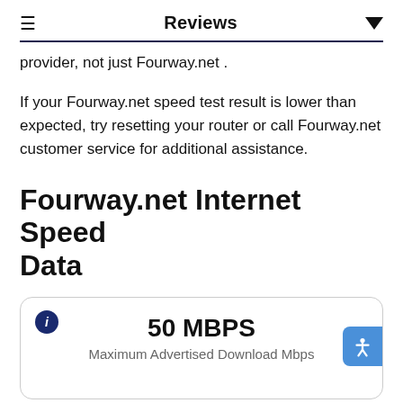Reviews
provider, not just Fourway.net .
If your Fourway.net speed test result is lower than expected, try resetting your router or call Fourway.net customer service for additional assistance.
Fourway.net Internet Speed Data
[Figure (infographic): Card showing 50 MBPS Maximum Advertised Download Mbps with info icon]
[Figure (infographic): Partial card with info icon at bottom of page]